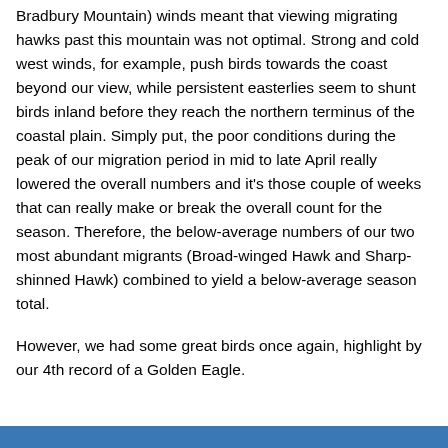Bradbury Mountain) winds meant that viewing migrating hawks past this mountain was not optimal. Strong and cold west winds, for example, push birds towards the coast beyond our view, while persistent easterlies seem to shunt birds inland before they reach the northern terminus of the coastal plain. Simply put, the poor conditions during the peak of our migration period in mid to late April really lowered the overall numbers and it's those couple of weeks that can really make or break the overall count for the season. Therefore, the below-average numbers of our two most abundant migrants (Broad-winged Hawk and Sharp-shinned Hawk) combined to yield a below-average season total.
However, we had some great birds once again, highlight by our 4th record of a Golden Eagle.
[Figure (other): Blue bar at the bottom of the page]